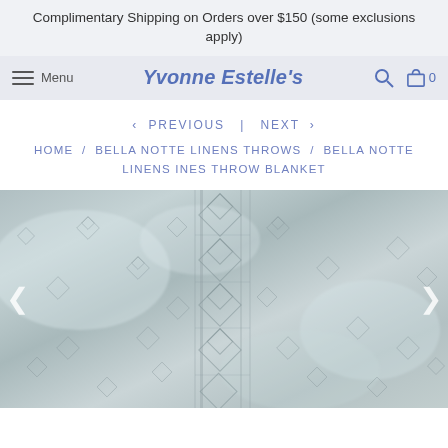Complimentary Shipping on Orders over $150 (some exclusions apply)
Menu | Yvonne Estelle's | Search | Cart 0
< PREVIOUS | NEXT >
HOME / BELLA NOTTE LINENS THROWS / BELLA NOTTE LINENS INES THROW BLANKET
[Figure (photo): Close-up photo of the Bella Notte Linens Ines Throw Blanket, showing a textured gray fabric with an embossed geometric diamond and medallion pattern. The blanket is light gray/silver in color with subtle woven designs throughout.]